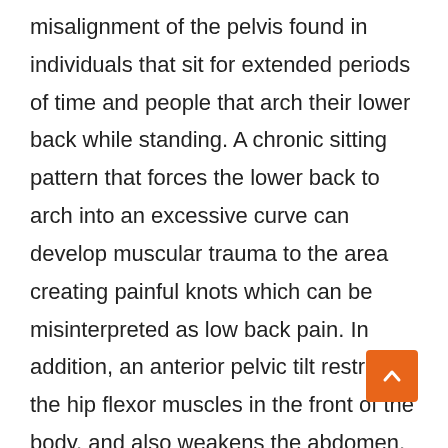misalignment of the pelvis found in individuals that sit for extended periods of time and people that arch their lower back while standing. A chronic sitting pattern that forces the lower back to arch into an excessive curve can develop muscular trauma to the area creating painful knots which can be misinterpreted as low back pain. In addition, an anterior pelvic tilt restricts the hip flexor muscles in the front of the body, and also weakens the abdomen, gluteus, and hamstring muscles. These overactive muscles combined with the weakened muscles can result in the anterior pelvic tilt remaining long